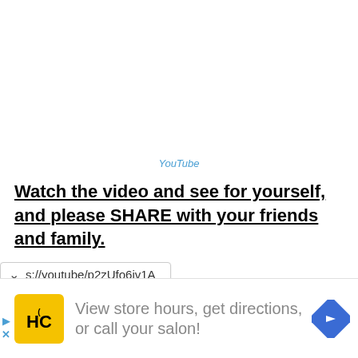YouTube
Watch the video and see for yourself, and please SHARE with your friends and family.
s://youtube/p2zUfo6iv1A
[Figure (screenshot): Advertisement banner: HC salon logo, text 'View store hours, get directions, or call your salon!', blue diamond arrow icon]